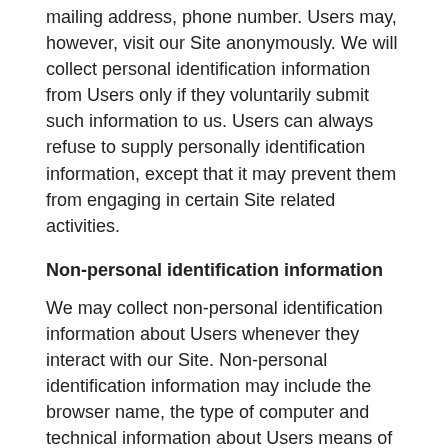mailing address, phone number. Users may, however, visit our Site anonymously. We will collect personal identification information from Users only if they voluntarily submit such information to us. Users can always refuse to supply personally identification information, except that it may prevent them from engaging in certain Site related activities.
Non-personal identification information
We may collect non-personal identification information about Users whenever they interact with our Site. Non-personal identification information may include the browser name, the type of computer and technical information about Users means of connection to our Site, such as the operating system and the Internet service providers utilized and other similar information.
Web browser cookies
Our Site may use “cookies” to enhance User experience. User’s web browser places cookies on their hard drive for record-keeping purposes and sometimes to track information about them. Users may choose to set their web browser to refuse...